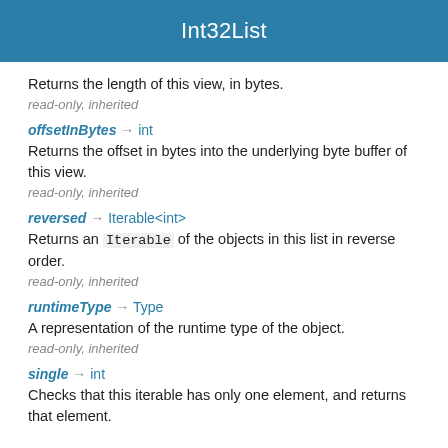Int32List
Returns the length of this view, in bytes.
read-only, inherited
offsetInBytes → int
Returns the offset in bytes into the underlying byte buffer of this view.
read-only, inherited
reversed → Iterable<int>
Returns an Iterable of the objects in this list in reverse order.
read-only, inherited
runtimeType → Type
A representation of the runtime type of the object.
read-only, inherited
single → int
Checks that this iterable has only one element, and returns that element.